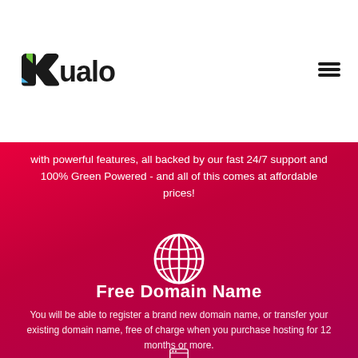[Figure (logo): Kualo logo — stylized 'kualo' wordmark in black with a green 'k' accent]
[Figure (other): Hamburger menu icon (three horizontal lines) in dark color, top right]
with powerful features, all backed by our fast 24/7 support and 100% Green Powered - and all of this comes at affordable prices!
[Figure (illustration): White globe/internet icon on red background]
Free Domain Name
You will be able to register a brand new domain name, or transfer your existing domain name, free of charge when you purchase hosting for 12 months or more.
[Figure (illustration): White browser/window icon partially visible at bottom of page]